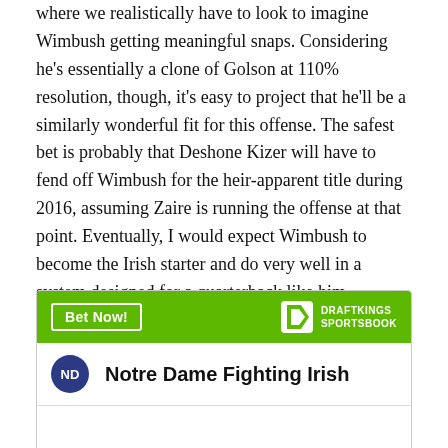where we realistically have to look to imagine Wimbush getting meaningful snaps. Considering he's essentially a clone of Golson at 110% resolution, though, it's easy to project that he'll be a similarly wonderful fit for this offense. The safest bet is probably that Deshone Kizer will have to fend off Wimbush for the heir-apparent title during 2016, assuming Zaire is running the offense at that point. Eventually, I would expect Wimbush to become the Irish starter and do very well in a system designed for a quarterback like him.
[Figure (other): DraftKings Sportsbook advertisement widget with green header showing 'Bet Now!' button and DraftKings Sportsbook logo, and a row showing Notre Dame Fighting Irish team with navy circular ND badge.]